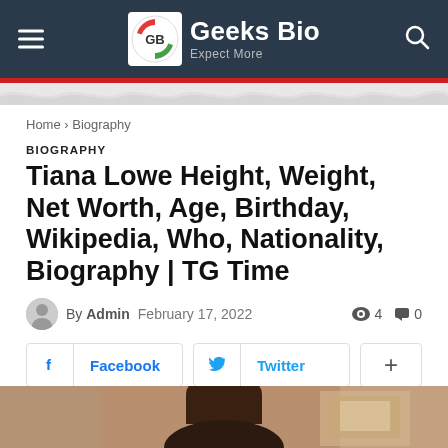Geeks Bio — Expect More
Home › Biography
BIOGRAPHY
Tiana Lowe Height, Weight, Net Worth, Age, Birthday, Wikipedia, Who, Nationality, Biography | TG Time
By Admin  February 17, 2022  👁 4  💬 0
Facebook  Twitter  +
[Figure (photo): Bottom portion of page showing beginning of a photo of a person (Tiana Lowe), partially visible]